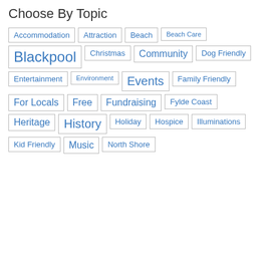Choose By Topic
Accommodation
Attraction
Beach
Beach Care
Blackpool
Christmas
Community
Dog Friendly
Entertainment
Environment
Events
Family Friendly
For Locals
Free
Fundraising
Fylde Coast
Heritage
History
Holiday
Hospice
Illuminations
Kid Friendly
Music
North Shore